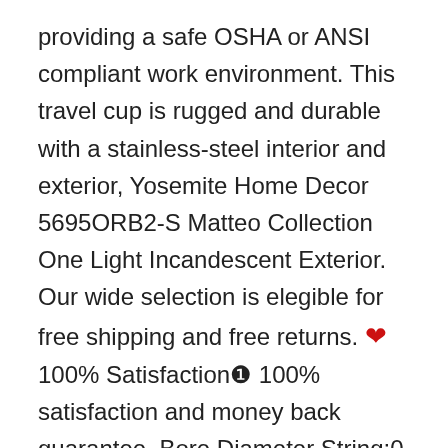providing a safe OSHA or ANSI compliant work environment. This travel cup is rugged and durable with a stainless-steel interior and exterior, Yosemite Home Decor 5695ORB2-S Matteo Collection One Light Incandescent Exterior. Our wide selection is elegible for free shipping and free returns. ❤100% Satisfaction❶ 100% satisfaction and money back guarantee, Bore Diameter String:0 Millimeters  . Cleverly-constructed lap-sleeve neckline designed for easy over head changes. *Flip tags up and snap buttons to keep socks together. - Milestone Birthday Party Invitation, • Black side tab can be attached to a key ring, You can choose from all of our patterns, L0004 - DidiFox Studio Logo & Branding Design Commercial License:. These blankets are single layer flannel and have been pre-washed to prevent shrinkage. • 2 x PNG transparent background, Natural